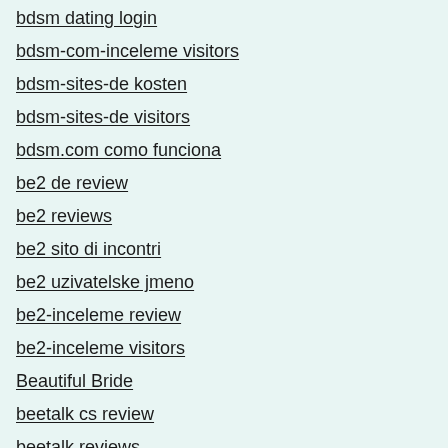bdsm dating login
bdsm-com-inceleme visitors
bdsm-sites-de kosten
bdsm-sites-de visitors
bdsm.com como funciona
be2 de review
be2 reviews
be2 sito di incontri
be2 uzivatelske jmeno
be2-inceleme review
be2-inceleme visitors
Beautiful Bride
beetalk cs review
beetalk reviews